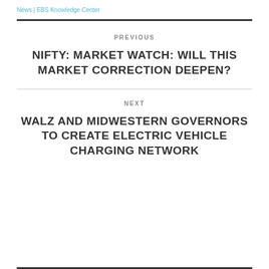News | EBS Knowledge Center
PREVIOUS
NIFTY: MARKET WATCH: WILL THIS MARKET CORRECTION DEEPEN?
NEXT
WALZ AND MIDWESTERN GOVERNORS TO CREATE ELECTRIC VEHICLE CHARGING NETWORK